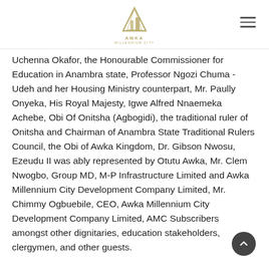AWKA MILLENNIUM CITY logo and navigation
Uchenna Okafor, the Honourable Commissioner for Education in Anambra state, Professor Ngozi Chuma - Udeh and her Housing Ministry counterpart, Mr. Paully Onyeka, His Royal Majesty, Igwe Alfred Nnaemeka Achebe, Obi Of Onitsha (Agbogidi), the traditional ruler of Onitsha and Chairman of Anambra State Traditional Rulers Council, the Obi of Awka Kingdom, Dr. Gibson Nwosu, Ezeudu II was ably represented by Otutu Awka, Mr. Clem Nwogbo, Group MD, M-P Infrastructure Limited and Awka Millennium City Development Company Limited, Mr. Chimmy Ogbuebile, CEO, Awka Millennium City Development Company Limited, AMC Subscribers amongst other dignitaries, education stakeholders, clergymen, and other guests.